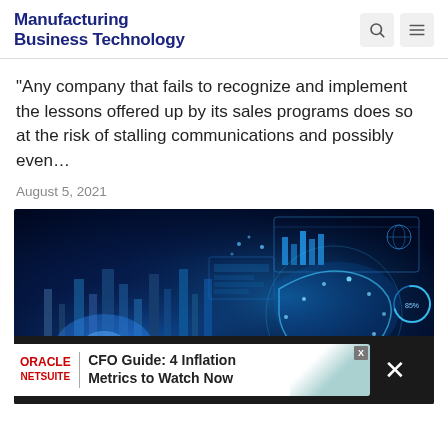Manufacturing Business Technology
"Any company that fails to recognize and implement the lessons offered up by its sales programs does so at the risk of stalling communications and possibly even…
August 5, 2021
[Figure (photo): Industrial/manufacturing facility at night with blue digital overlay graphics showing data dashboards, charts, and a glowing digital sphere]
ORACLE NETSUITE | CFO Guide: 4 Inflation Metrics to Watch Now